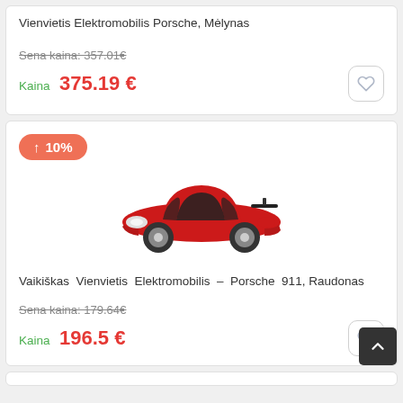Vienvietis Elektromobilis Porsche, Mėlynas
Sena kaina: 357.01€
Kaina 375.19 €
[Figure (photo): Red Porsche 911 children's electric ride-on car toy]
Vaikiškas Vienvietis Elektromobilis - Porsche 911, Raudonas
Sena kaina: 179.64€
Kaina 196.5 €